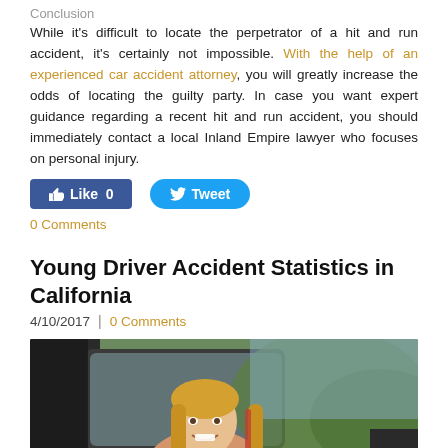Conclusion
While it's difficult to locate the perpetrator of a hit and run accident, it's certainly not impossible. With the help of an experienced car accident attorney, you will greatly increase the odds of locating the guilty party. In case you want expert guidance regarding a recent hit and run accident, you should immediately contact a local Inland Empire lawyer who focuses on personal injury.
[Figure (other): Social media buttons: Facebook Like (0) and Twitter Tweet]
0 Comments
Young Driver Accident Statistics in California
4/10/2017  |  0 Comments
[Figure (photo): A young blonde woman smiling while sitting in the driver seat of a car, holding keys, viewed from outside the open window.]